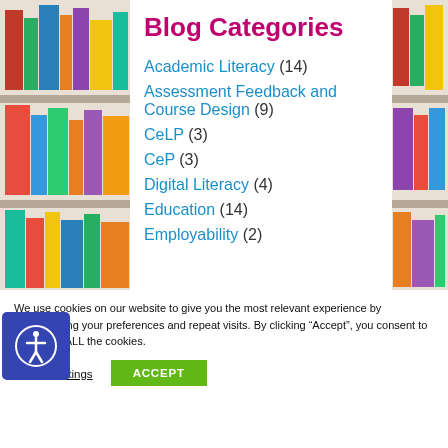Blog Categories
Academic Literacy (14)
Assessment Feedback and Course Design (9)
CeLP (3)
CeP (3)
Digital Literacy (4)
Education (14)
Employability (2)
We use cookies on our website to give you the most relevant experience by remembering your preferences and repeat visits. By clicking “Accept”, you consent to the use of ALL the cookies.
Cookie settings
ACCEPT